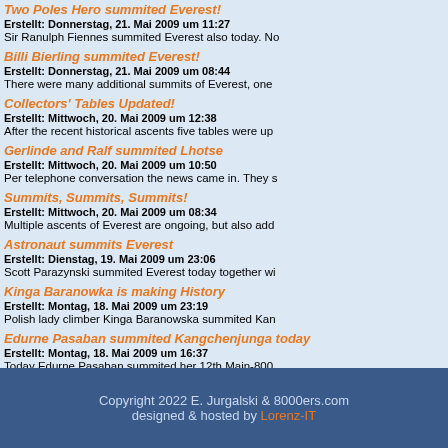Two Poles Hero summited Everest! | Erstellt: Donnerstag, 21. Mai 2009 um 11:27 | He did it again! Today Apa summited Everest for the...
Billi Bierling summited Everest! | Erstellt: Donnerstag, 21. Mai 2009 um 08:44 | Sir Ranulph Fiennes summited Everest also today. No...
Collectors' Tables Updated! | Erstellt: Mittwoch, 20. Mai 2009 um 12:38 | There were many additional summits of Everest, one...
Gerlinde and Ralf summited Lhotse | Erstellt: Mittwoch, 20. Mai 2009 um 10:50 | After the recent historical ascents five tables were up...
Summits, Summits, Summits! | Erstellt: Mittwoch, 20. Mai 2009 um 08:34 | Per telephone conversation the news came in. They s...
Astronaut summits Everest | Erstellt: Dienstag, 19. Mai 2009 um 23:06 | Multiple ascents of Everest are ongoing, but also add...
Kinga Baranowka is making History | Erstellt: Montag, 18. Mai 2009 um 23:19 | Scott Parazynski summited Everest today together wi...
Edurne Pasaban summited Kangchenjunga today | Erstellt: Montag, 18. Mai 2009 um 16:37 | Polish lady climber Kinga Baranowska summited Kan...
<< Start < Zurück 1 2 3 Weiter > Ende >> JPAGE_CURREN
Copyright 2022 E. Jurgalski & 8000ers.com designed & hosted by Lorenz-IT